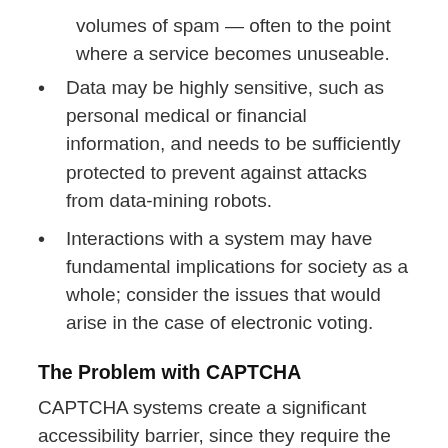volumes of spam — often to the point where a service becomes unuseable.
Data may be highly sensitive, such as personal medical or financial information, and needs to be sufficiently protected to prevent against attacks from data-mining robots.
Interactions with a system may have fundamental implications for society as a whole; consider the issues that would arise in the case of electronic voting.
The Problem with CAPTCHA
CAPTCHA systems create a significant accessibility barrier, since they require the user to